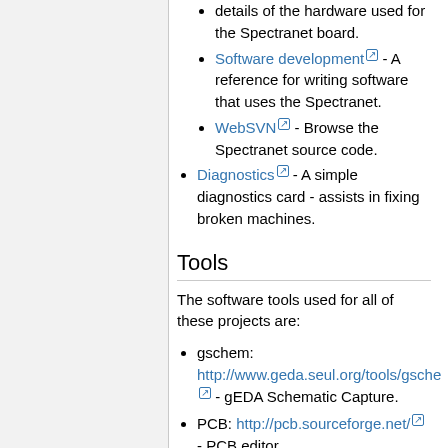details of the hardware used for the Spectranet board.
Software development - A reference for writing software that uses the Spectranet.
WebSVN - Browse the Spectranet source code.
Diagnostics - A simple diagnostics card - assists in fixing broken machines.
Tools
The software tools used for all of these projects are:
gschem: http://www.geda.seul.org/tools/gschem/ - gEDA Schematic Capture.
PCB: http://pcb.sourceforge.net/ - PCB editor.